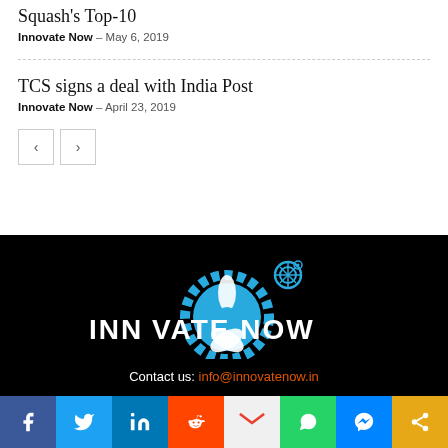Squash's Top-10
Innovate Now – May 6, 2019
TCS signs a deal with India Post
Innovate Now – April 23, 2019
[Figure (logo): Innovate Now logo on black background with gear/snowflake icons]
Contact us: info@innovatenow.in
[Figure (infographic): Social media share bar with Facebook, Twitter, LinkedIn, Reddit, Gmail, WhatsApp, Messenger, and share icons]